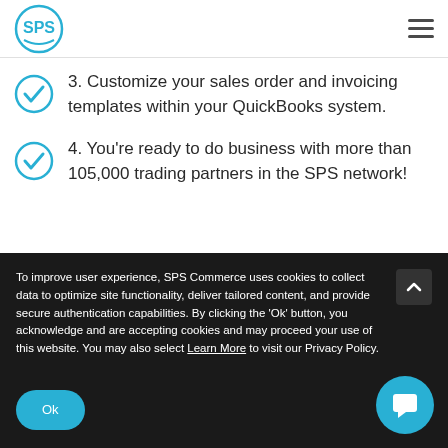SPS Commerce logo and navigation
3. Customize your sales order and invoicing templates within your QuickBooks system.
4. You’re ready to do business with more than 105,000 trading partners in the SPS network!
To improve user experience, SPS Commerce uses cookies to collect data to optimize site functionality, deliver tailored content, and provide secure authentication capabilities. By clicking the ‘Ok’ button, you acknowledge and are accepting cookies and may proceed your use of this website. You may also select Learn More to visit our Privacy Policy.